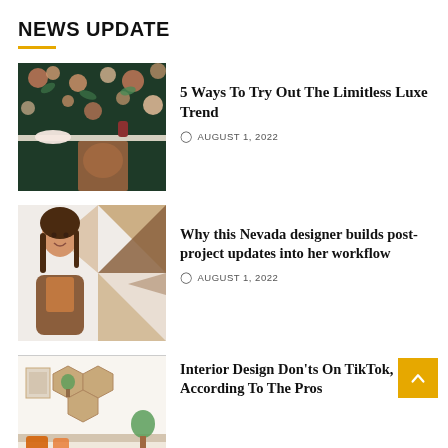NEWS UPDATE
[Figure (photo): Interior room with floral dark wallpaper, marble table, mid-century modern wooden chair]
5 Ways To Try Out The Limitless Luxe Trend
AUGUST 1, 2022
[Figure (photo): Woman with brown hair smiling, wearing a brown jacket, standing in front of a geometric patterned wall]
Why this Nevada designer builds post-project updates into her workflow
AUGUST 1, 2022
[Figure (photo): Interior room with hexagonal wooden wall shelves, plants, framed artwork, and couch with orange pillows]
Interior Design Don'ts On TikTok, According To The Pros